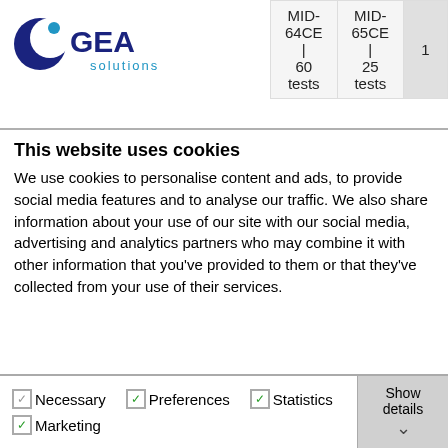GEA solutions logo and navigation
| MID-64CE | 60 tests | MID-65CE | 25 tests |  |
| --- | --- | --- |
This website uses cookies
We use cookies to personalise content and ads, to provide social media features and to analyse our traffic. We also share information about your use of our site with our social media, advertising and analytics partners who may combine it with other information that you’ve provided to them or that they’ve collected from your use of their services.
Allow all cookies
Allow selection
Use necessary cookies only
Necessary  Preferences  Statistics  Marketing  Show details